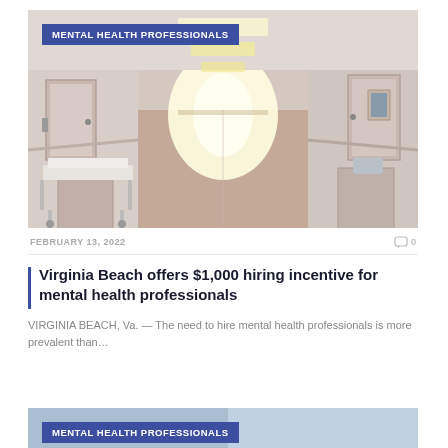[Figure (photo): Hospital corridor with white walls, doors, a gurney/bed on the left side, and bright light at the end of the hallway. Blue category badge reading 'MENTAL HEALTH PROFESSIONALS' in the upper left corner.]
MENTAL HEALTH PROFESSIONALS
FEBRUARY 13, 2022
0
Virginia Beach offers $1,000 hiring incentive for mental health professionals
VIRGINIA BEACH, Va. — The need to hire mental health professionals is more prevalent than…
[Figure (photo): Partial view of a second article card with 'MENTAL HEALTH PROFESSIONALS' category badge, showing the top portion of another image.]
MENTAL HEALTH PROFESSIONALS